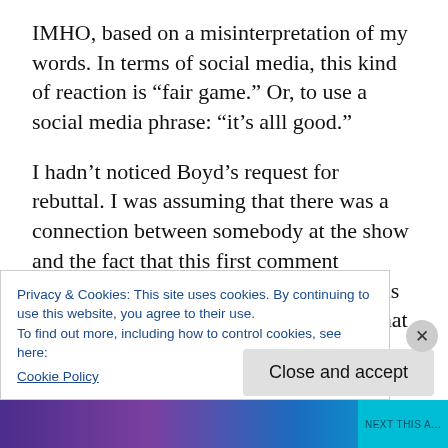IMHO, based on a misinterpretation of my words. In terms of social media, this kind of reaction is “fair game.” Or, to use a social media phrase: “it’s alll good.”
I hadn’t noticed Boyd’s request for rebuttal. I was assuming that there was a connection between somebody at the show and the fact that this first comment appeared on my blog, but I thought it was less direct than this. Now, it’s possible that there wasn’t any connection
Privacy & Cookies: This site uses cookies. By continuing to use this website, you agree to their use.
To find out more, including how to control cookies, see here:
Cookie Policy
Close and accept